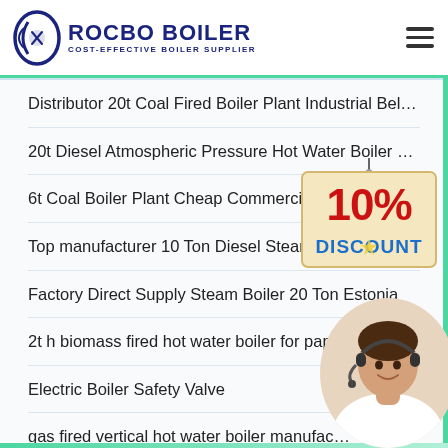ROCBO BOILER - COST-EFFECTIVE BOILER SUPPLIER
Distributor 20t Coal Fired Boiler Plant Industrial Belarus
20t Diesel Atmospheric Pressure Hot Water Boiler Estonia
6t Coal Boiler Plant Cheap Commercial Ukraine
Top manufacturer 10 Ton Diesel Steam Boi...
Factory Direct Supply Steam Boiler 20 Ton Estonia
2t h biomass fired hot water boiler for pape...
Electric Boiler Safety Valve
gas fired vertical hot water boiler manufac...
[Figure (other): 10% Discount promotional badge/sticker overlaying the list content]
[Figure (photo): Customer service representative with headset, circular cropped photo in bottom right corner]